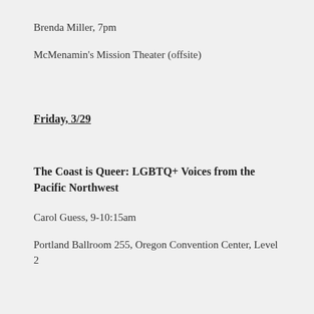Brenda Miller, 7pm
McMenamin's Mission Theater (offsite)
Friday, 3/29
The Coast is Queer: LGBTQ+ Voices from the Pacific Northwest
Carol Guess, 9-10:15am
Portland Ballroom 255, Oregon Convention Center, Level 2